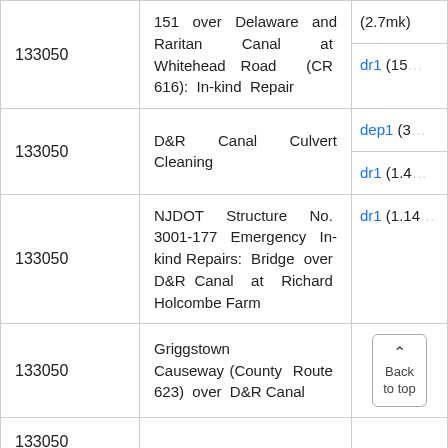| ID | Description | Code |
| --- | --- | --- |
| 133050 | 151 over Delaware and Raritan Canal at Whitehead Road (CR 616): In-kind Repair | (2.7mk) / dr1 (15... |
| 133050 | D&R Canal Culvert Cleaning | dep1 (3...) / dr1 (1.4...) |
| 133050 | NJDOT Structure No. 3001-177 Emergency In-kind Repairs: Bridge over D&R Canal at Richard Holcombe Farm | dr1 (1.14...) |
| 133050 | Griggstown Causeway (County Route 623) over D&R Canal | Back to top |
| 133050 |  |  |